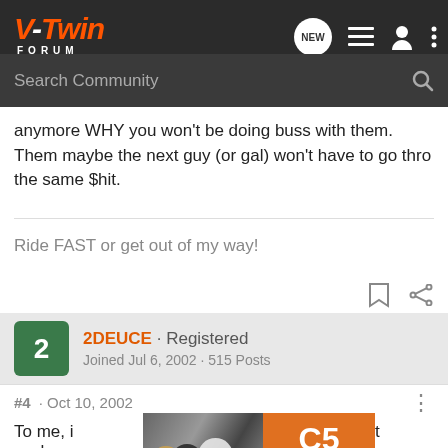V-Twin FORUM — Search Community
anymore WHY you won't be doing buss with them. Them maybe the next guy (or gal) won't have to go thro the same $hit.
Ride FAST or get out of my way!
2DEUCE · Registered
Joined Jul 6, 2002 · 515 Posts
#4 · Oct 10, 2002
To me, i... fat cash an... bike